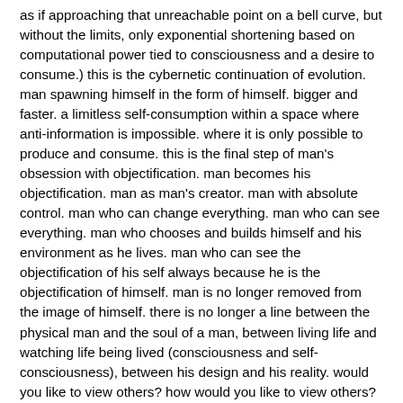as if approaching that unreachable point on a bell curve, but without the limits, only exponential shortening based on computational power tied to consciousness and a desire to consume.)  this is the cybernetic continuation of evolution.  man spawning himself in the form of himself.  bigger and faster.  a limitless self-consumption within a space where anti-information is impossible.  where it is only possible to produce and consume.  this is the final step of man's obsession with objectification.  man becomes his objectification.  man as man's creator.  man with absolute control.  man who can change everything.  man who can see everything.  man who chooses and builds himself and his environment as he lives.  man who can see the objectification of his self always because he is the objectification of himself.  man is no longer removed from the image of himself.  there is no longer a line between the physical man and the soul of a man, between living life and watching life being lived (consciousness and self-consciousness), between his design and his reality.  would you like to view others?  how would you like to view others?  these are others without physical contact.  they are bodies of information to consume.  they can only affect you by their implications.  you can only view them by how you choose to view them or by how they choose to let themselves be viewed.  and